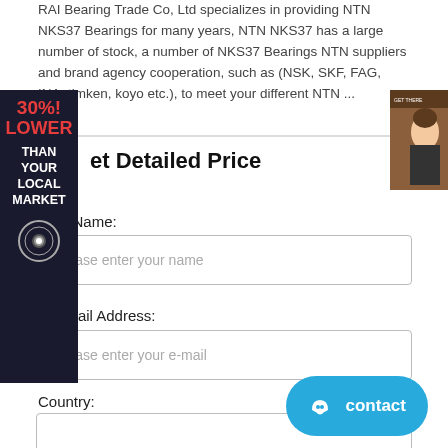RAI Bearing Trade Co, Ltd specializes in providing NTN NKS37 Bearings for many years, NTN NKS37 has a large number of stock, a number of NKS37 Bearings NTN suppliers and brand agency cooperation, such as (NSK, SKF, FAG, INA, timken, koyo etc.), to meet your different NTN ...
[Figure (infographic): Dark navy banner with red bold text '30%! LOWER' and white text 'THAN YOUR LOCAL MARKET' and a circular seal/badge at the bottom]
[Figure (photo): Small photo of a woman's face on brown/orange background, appears to be a book or pamphlet cover]
Get Detailed Price
Your Name:
Please enter your name
* E-Mail Address:
Please enter your e-mail
Country:
[Figure (other): Blue contact button with chat bubble icon and 'contact' text]